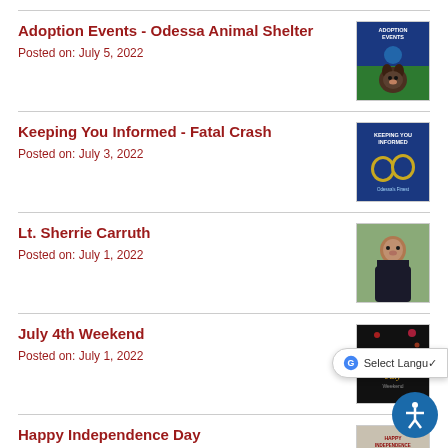Adoption Events - Odessa Animal Shelter
Posted on: July 5, 2022
[Figure (photo): Adoption Events flyer with blue background and puppy photo]
Keeping You Informed - Fatal Crash
Posted on: July 3, 2022
[Figure (photo): Keeping You Informed flyer with police badge on blue background]
Lt. Sherrie Carruth
Posted on: July 1, 2022
[Figure (photo): Portrait photo of Lt. Sherrie Carruth]
July 4th Weekend
Posted on: July 1, 2022
[Figure (photo): July 4th Weekend event flyer with fireworks on dark background]
Happy Independence Day
[Figure (photo): Happy Independence Day flyer thumbnail]